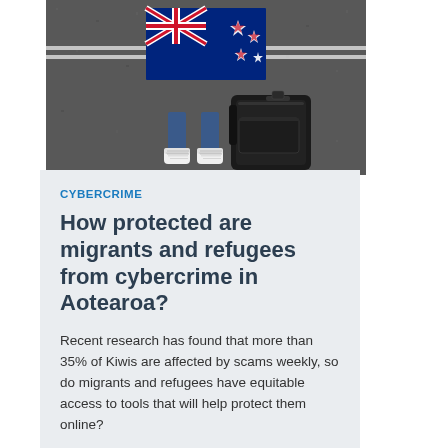[Figure (photo): Aerial view looking down at a person standing on asphalt road wearing white sneakers and blue jeans, with a black backpack beside them and a New Zealand flag lying on the ground in front of them. Two white lines cross the road horizontally.]
CYBERCRIME
How protected are migrants and refugees from cybercrime in Aotearoa?
Recent research has found that more than 35% of Kiwis are affected by scams weekly, so do migrants and refugees have equitable access to tools that will help protect them online?